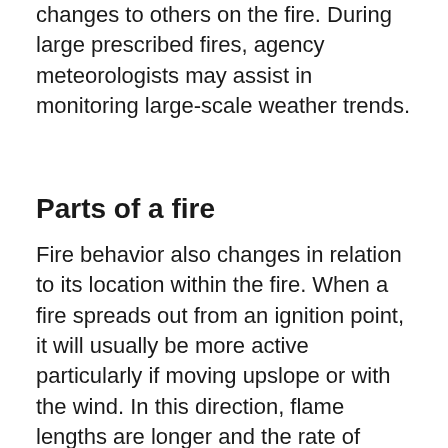changes to others on the fire. During large prescribed fires, agency meteorologists may assist in monitoring large-scale weather trends.
Parts of a fire
Fire behavior also changes in relation to its location within the fire. When a fire spreads out from an ignition point, it will usually be more active particularly if moving upslope or with the wind. In this direction, flame lengths are longer and the rate of spread is faster. This is called the “head” of the fire. On the opposite side, where the fire is spreading into the